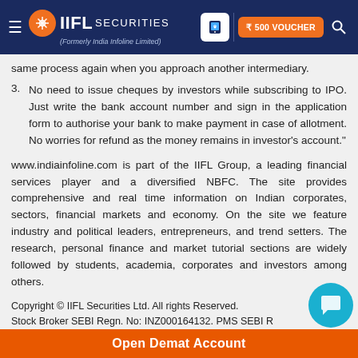IIFL Securities (Formerly India Infoline Limited)
same process again when you approach another intermediary.
3. No need to issue cheques by investors while subscribing to IPO. Just write the bank account number and sign in the application form to authorise your bank to make payment in case of allotment. No worries for refund as the money remains in investor's account."
www.indiainfoline.com is part of the IIFL Group, a leading financial services player and a diversified NBFC. The site provides comprehensive and real time information on Indian corporates, sectors, financial markets and economy. On the site we feature industry and political leaders, entrepreneurs, and trend setters. The research, personal finance and market tutorial sections are widely followed by students, academia, corporates and investors among others.
Copyright © IIFL Securities Ltd. All rights Reserved.
Stock Broker SEBI Regn. No: INZ000164132. PMS SEBI R
Open Demat Account